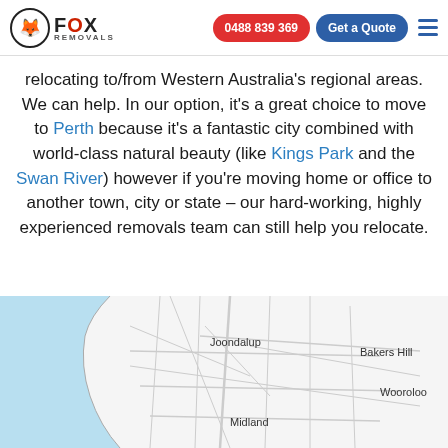Fox Removals | 0488 839 369 | Get a Quote
relocating to/from Western Australia's regional areas. We can help. In our option, it's a great choice to move to Perth because it's a fantastic city combined with world-class natural beauty (like Kings Park and the Swan River) however if you're moving home or office to another town, city or state – our hard-working, highly experienced removals team can still help you relocate.
[Figure (map): Map of Perth region showing Joondalup, Midland, Wooroloo, and Bakers Hill locations with road network overlay on a light background with ocean/water on the left side.]